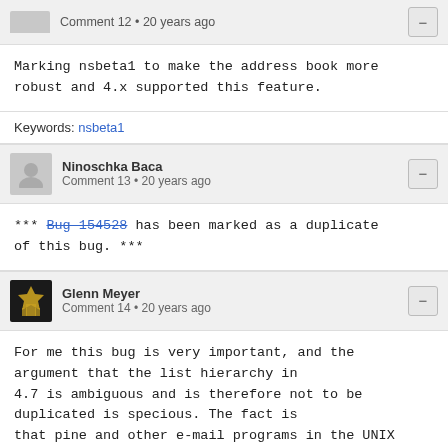Comment 12 • 20 years ago
Marking nsbeta1 to make the address book more robust and 4.x supported this feature.
Keywords: nsbeta1
Ninoschka Baca
Comment 13 • 20 years ago
*** Bug 154528 has been marked as a duplicate of this bug. ***
Glenn Meyer
Comment 14 • 20 years ago
For me this bug is very important, and the argument that the list hierarchy in 4.7 is ambiguous and is therefore not to be duplicated is specious. The fact is that pine and other e-mail programs in the UNIX